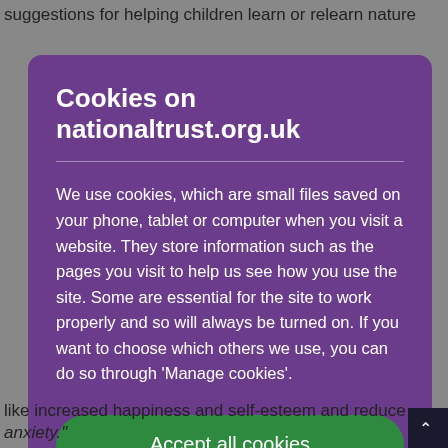suggestions for helping children learn or relearn nature
Cookies on nationaltrust.org.uk
We use cookies, which are small files saved on your phone, tablet or computer when you visit a website. They store information such as the pages you visit to help us see how you use the site. Some are essential for the site to work properly and so will always be turned on. If you want to choose which others we use, you can do so through 'Manage cookies'.
Accept all cookies
like increased happiness and self-esteem and reduced anxiety."